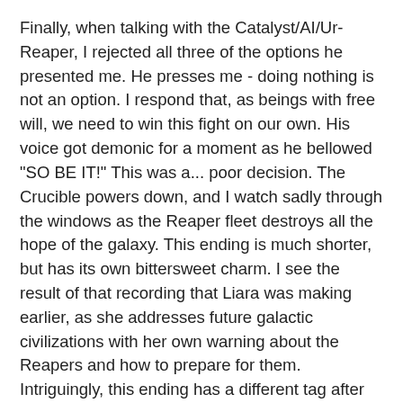Finally, when talking with the Catalyst/AI/Ur-Reaper, I rejected all three of the options he presented me. He presses me - doing nothing is not an option. I respond that, as beings with free will, we need to win this fight on our own. His voice got demonic for a moment as he bellowed "SO BE IT!" This was a... poor decision. The Crucible powers down, and I watch sadly through the windows as the Reaper fleet destroys all the hope of the galaxy. This ending is much shorter, but has its own bittersweet charm. I see the result of that recording that Liara was making earlier, as she addresses future galactic civilizations with her own warning about the Reapers and how to prepare for them. Intriguingly, this ending has a different tag after the credits: the scene is largely the same, but instead of an elderly male figure, it's a tall female figure; it looks like she might be related to the Asari, although it's hard to tell from the small silhouette. We learn from her that, thanks to the efforts of "The Shepard," knowledge about how to fight the Reapers was passed down to later societies, and the next cycle was ready to fight them, and ultimately beat them. This is an intriguing ending on its own. Much sadder for everyone I've come to know and love